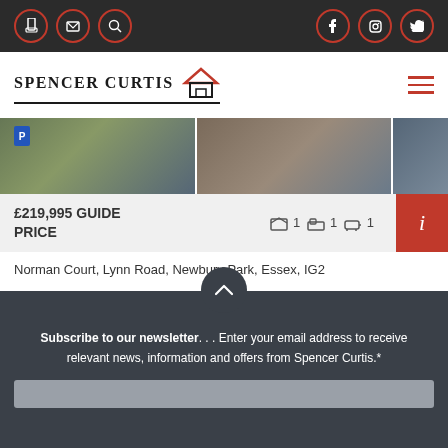Spencer Curtis navigation bar with social icons
[Figure (logo): Spencer Curtis real estate logo with house icon]
[Figure (photo): Exterior photo of Norman Court property building]
£219,995 GUIDE PRICE
1 1 1 (rooms, bedrooms, bathrooms)
Norman Court, Lynn Road, Newbury Park, Essex, IG2
Subscribe to our newsletter… Enter your email address to receive relevant news, information and offers from Spencer Curtis.*